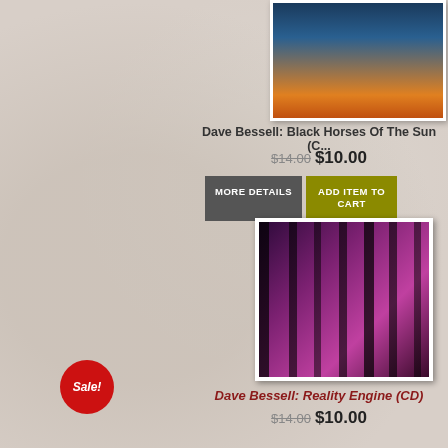[Figure (photo): Album cover for Black Horses Of The Sun - sky with dramatic clouds and orange/blue tones]
Dave Bessell: Black Horses Of The Sun (C...
$14.00 $10.00
MORE DETAILS
ADD ITEM TO CART
[Figure (photo): Sale! badge - red circle]
[Figure (photo): Album cover for Reality Engine - purple/magenta tree silhouettes against dark background]
Dave Bessell: Reality Engine (CD)
$14.00 $10.00
MORE DETAILS
ADD ITEM TO CART
[Figure (photo): Third album cover partially visible - dark background with galaxy/spiral]